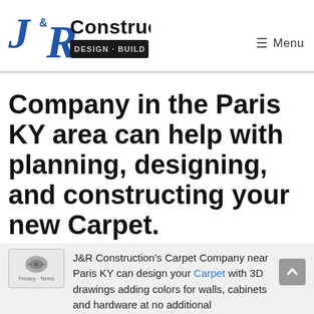[Figure (logo): J&R Construction Design-Build-Remodel logo with blue J and R letters and dark banner]
≡ Menu
Company in the Paris KY area can help with planning, designing, and constructing your new Carpet.
J&R Construction's Carpet Company near Paris KY can design your Carpet with 3D drawings adding colors for walls, cabinets and hardware at no additional